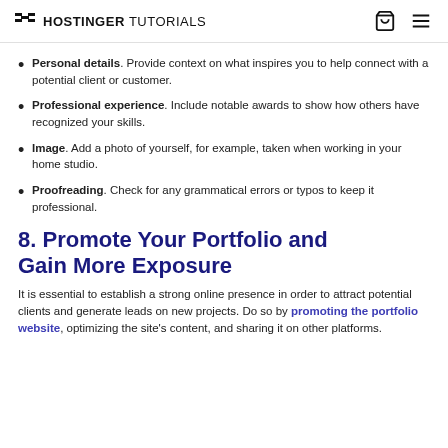HOSTINGER TUTORIALS
Personal details. Provide context on what inspires you to help connect with a potential client or customer.
Professional experience. Include notable awards to show how others have recognized your skills.
Image. Add a photo of yourself, for example, taken when working in your home studio.
Proofreading. Check for any grammatical errors or typos to keep it professional.
8. Promote Your Portfolio and Gain More Exposure
It is essential to establish a strong online presence in order to attract potential clients and generate leads on new projects. Do so by promoting the portfolio website, optimizing the site's content, and sharing it on other platforms.